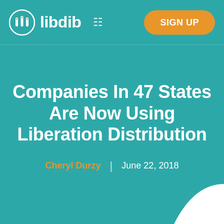[Figure (logo): Libdib logo with bottle icon and wordmark, plus menu icon and SIGN UP button in orange pill shape]
Companies In 47 States Are Now Using Liberation Distribution
Cheryl Durzy | June 22, 2018